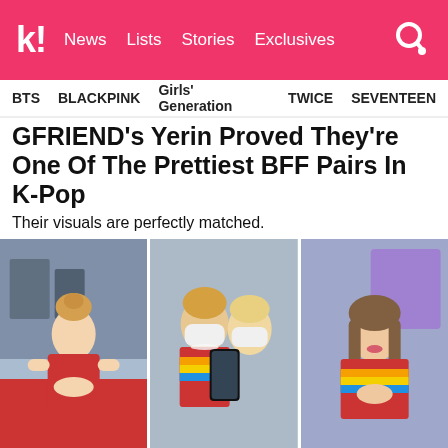K! News Lists Stories Exclusives
BTS  BLACKPINK  Girls' Generation  TWICE  SEVENTEEN
GFRIENDs Yerin Proved They're One Of The Prettiest BFF Pairs In K-Pop
Their visuals are perfectly matched.
[Figure (photo): Three side-by-side photos of K-pop idols: left shows a blonde girl in a red outfit, center shows two people taking a mirror selfie wearing masks and rainbow striped shirts, right shows a girl in a rainbow striped shirt smiling.]